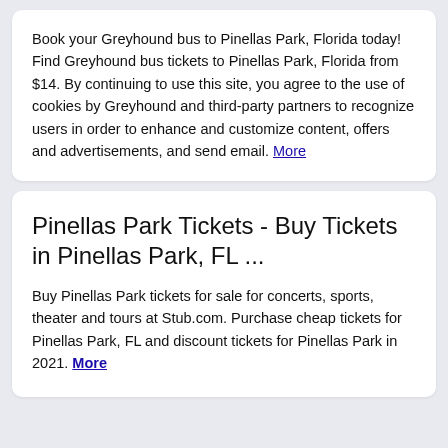Book your Greyhound bus to Pinellas Park, Florida today! Find Greyhound bus tickets to Pinellas Park, Florida from $14. By continuing to use this site, you agree to the use of cookies by Greyhound and third-party partners to recognize users in order to enhance and customize content, offers and advertisements, and send email. More
Pinellas Park Tickets - Buy Tickets in Pinellas Park, FL ...
Buy Pinellas Park tickets for sale for concerts, sports, theater and tours at Stub.com. Purchase cheap tickets for Pinellas Park, FL and discount tickets for Pinellas Park in 2021. More